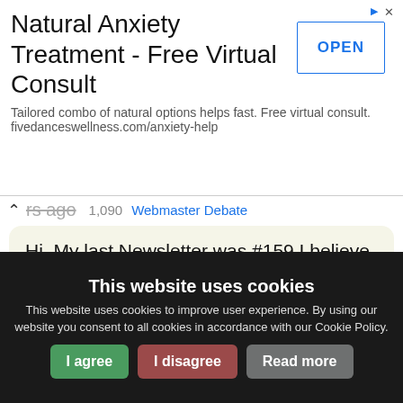[Figure (screenshot): Advertisement banner: 'Natural Anxiety Treatment - Free Virtual Consult' with OPEN button]
years ago  1,090  Webmaster Debate
Hi, My last Newsletter was #159 I believe for the New Year. Does this mean I should resubscribe? Thank you!   [End]
[retrieve this message]
Re: My free newsletter  by chelde
17 years ago  ...  Webmaster Debate
This website uses cookies
This website uses cookies to improve user experience. By using our website you consent to all cookies in accordance with our Cookie Policy.
I agree  I disagree  Read more